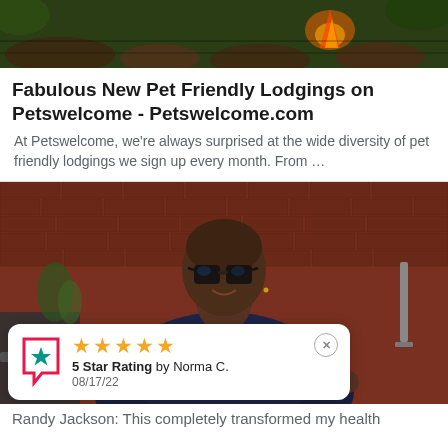[Figure (photo): Top banner photo showing outdoor fire/nature scene with dark green and brown tones]
Fabulous New Pet Friendly Lodgings on Petswelcome - Petswelcome.com
At Petswelcome, we're always surprised at the wide diversity of pet friendly lodgings we sign up every month. From …
[Figure (photo): Photo of a person wearing glasses and a dark patterned shirt, holding a metal bowl with sliced lemons/citrus, in front of a brick wall kitchen setting]
5 Star Rating by Norma C.
08/17/22
Randy Jackson: This completely transformed my health